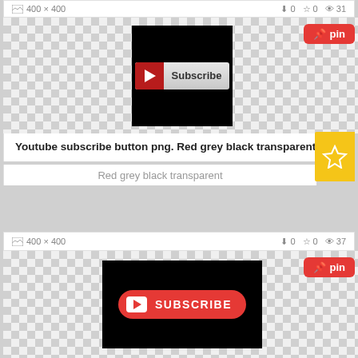400×400  ↓0  ☆0  👁 31
[Figure (screenshot): Youtube subscribe button - red and grey on black background, transparent PNG]
Youtube subscribe button png. Red grey black transparent
Red grey black transparent
400×400  ↓0  ☆0  👁 37
[Figure (screenshot): Youtube subscribe button - red rounded button with white text SUBSCRIBE on black background]